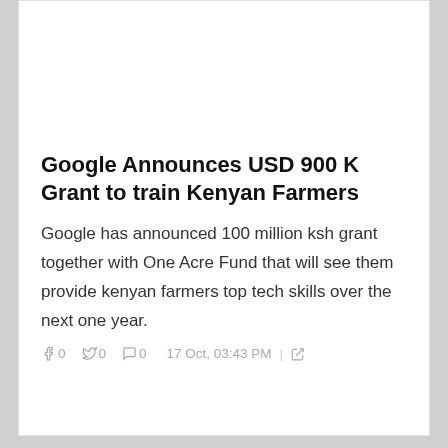Google Announces USD 900 K Grant to train Kenyan Farmers
Google has announced 100 million ksh grant together with One Acre Fund that will see them provide kenyan farmers top tech skills over the next one year.
0  0  0  17 Oct, 03:43 PM |